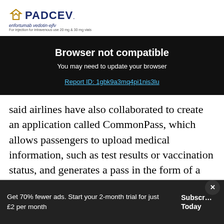[Figure (logo): PADCEV logo with enfortumab vedotin-ejfv text, pharmaceutical brand logo]
Browser not compatible
You may need to update your browser
Report ID: 1gbk9a3mq4pi1nis3lu
said airlines have also collaborated to create an application called CommonPass, which allows passengers to upload medical information, such as test results or vaccination status, and generates a pass in the form of a QR code.
[Figure (infographic): Advertisement banner: Ashburn OPEN 7:30AM-6PM, 43781 Parkhurst Plaza, Ashburn with Jiffy Lube logo and navigation arrow icon]
Britis
Get 70% fewer ads. Start your 2-month trial for just £2 per month
Subscribe Today